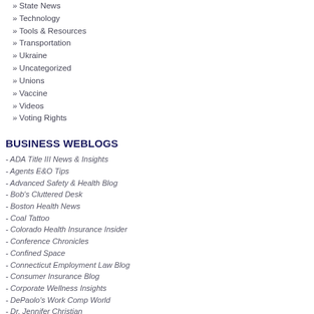» State News
» Technology
» Tools & Resources
» Transportation
» Ukraine
» Uncategorized
» Unions
» Vaccine
» Videos
» Voting Rights
BUSINESS WEBLOGS
- ADA Title III News & Insights
- Agents E&O Tips
- Advanced Safety & Health Blog
- Bob's Cluttered Desk
- Boston Health News
- Coal Tattoo
- Colorado Health Insurance Insider
- Conference Chronicles
- Confined Space
- Connecticut Employment Law Blog
- Consumer Insurance Blog
- Corporate Wellness Insights
- DePaolo's Work Comp World
- Dr. Jennifer Christian
- ESI's Workplace Wellness Blog
- Evidence Based
- Health Affairs Blog
- Health Care Policy and Marketplace Review
- healthinsurance.org blog
- HR Daily Advisor
- HR Web Cafe
- Insurance Agent Blog